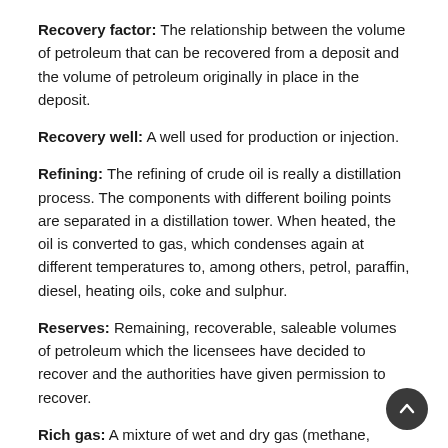Recovery factor: The relationship between the volume of petroleum that can be recovered from a deposit and the volume of petroleum originally in place in the deposit.
Recovery well: A well used for production or injection.
Refining: The refining of crude oil is really a distillation process. The components with different boiling points are separated in a distillation tower. When heated, the oil is converted to gas, which condenses again at different temperatures to, among others, petrol, paraffin, diesel, heating oils, coke and sulphur.
Reserves: Remaining, recoverable, saleable volumes of petroleum which the licensees have decided to recover and the authorities have given permission to recover.
Rich gas: A mixture of wet and dry gas (methane, ethane, propane, butanes, etc.).